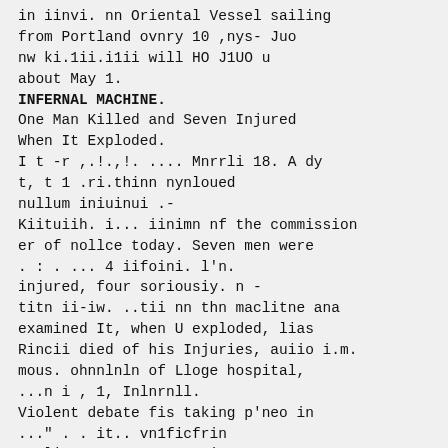in iinvi. nn Oriental Vessel sailing
from Portland ovnry 10 ,nys- Juo
nw ki.1ii.i1ii will HO J1UO u
about May 1.
INFERNAL MACHINE.
One Man Killed and Seven Injured
When It Exploded.
I t -r ,.!.,!. .... Mnrrli 18. A dy
t, t 1 .ri.thinn nynloued
nullum iniuinui .-
Kiituiih. i... iinimn nf the commission
er of nollce today. Seven men were
. : . ... 4 iifoini. l'n.
injured, four soriousiy. n -
titn ii-iw. ..tii nn thn maclitne ana
examined It, when U exploded, lias
Rincii died of his Injuries, auiio i.m.
mous. ohnnlnln of Lloge hospital,
...n i , 1, Inlnrnll.
Violent debate fis taking p'neo in
..." . . it.. vn1ficfrin
parliament touay over iuu w
n. I I . . n nAnoarvfliiv w (i n. it
Il tho urtnlnlluta nf ll(llltT KUlUj' Ol
an attempt to assassinate m". "